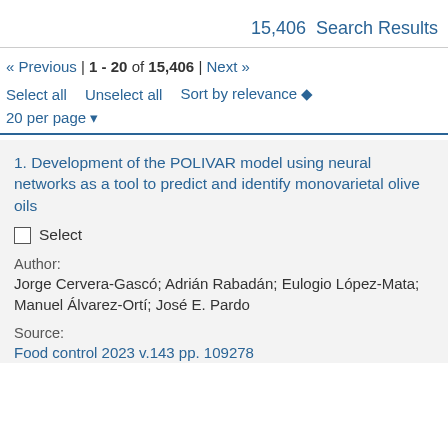15,406  Search Results
« Previous | 1 - 20 of 15,406 | Next »
Select all   Unselect all   Sort by relevance ◆
20 per page ▼
1. Development of the POLIVAR model using neural networks as a tool to predict and identify monovarietal olive oils
☐ Select
Author:
Jorge Cervera-Gascó; Adrián Rabadán; Eulogio López-Mata; Manuel Álvarez-Ortí; José E. Pardo
Source:
Food control 2023 v.143 pp. 109278